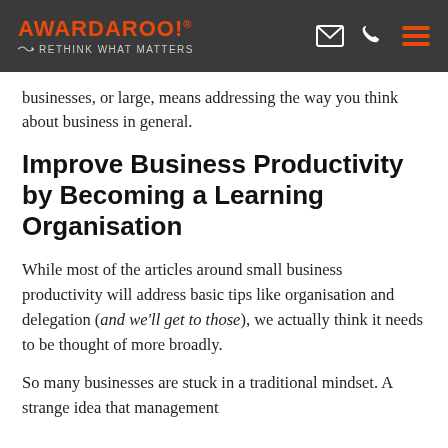AWARDAROO! ® — RETHINK WHAT MATTERS
businesses, or large, means addressing the way you think about business in general.
Improve Business Productivity by Becoming a Learning Organisation
While most of the articles around small business productivity will address basic tips like organisation and delegation (and we'll get to those), we actually think it needs to be thought of more broadly.
So many businesses are stuck in a traditional mindset. A strange idea that management